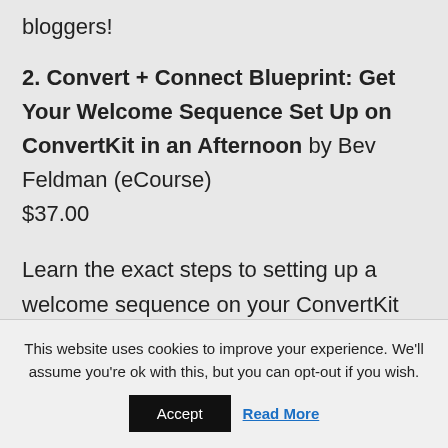bloggers!
2. Convert + Connect Blueprint: Get Your Welcome Sequence Set Up on ConvertKit in an Afternoon by Bev Feldman (eCourse) $37.00
Learn the exact steps to setting up a welcome sequence on your ConvertKit account that builds trust with new subscribers, even if you hate dealing with tech.
This website uses cookies to improve your experience. We'll assume you're ok with this, but you can opt-out if you wish.
Accept | Read More